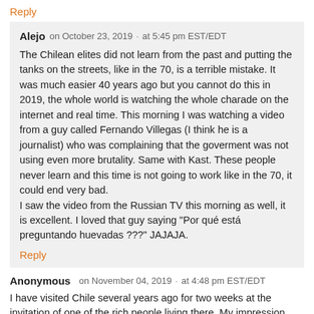Reply
Alejo   on October 23, 2019  ·  at 5:45 pm EST/EDT
The Chilean elites did not learn from the past and putting the tanks on the streets, like in the 70, is a terrible mistake. It was much easier 40 years ago but you cannot do this in 2019, the whole world is watching the whole charade on the internet and real time. This morning I was watching a video from a guy called Fernando Villegas (I think he is a journalist) who was complaining that the goverment was not using even more brutality. Same with Kast. These people never learn and this time is not going to work like in the 70, it could end very bad.
I saw the video from the Russian TV this morning as well, it is excellent. I loved that guy saying "Por qué está preguntando huevadas ???" JAJAJA.
Reply
Anonymous   on November 04, 2019  ·  at 4:48 pm EST/EDT
I have visited Chile several years ago for two weeks at the invitation of one of the rich people living there. My impression was